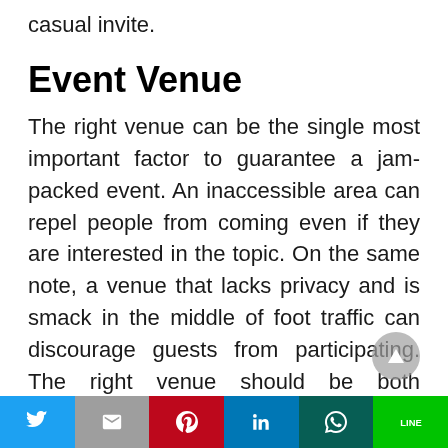casual invite.
Event Venue
The right venue can be the single most important factor to guarantee a jam-packed event. An inaccessible area can repel people from coming even if they are interested in the topic. On the same note, a venue that lacks privacy and is smack in the middle of foot traffic can discourage guests from participating. The right venue should be both accessible and located in
Social share bar: Twitter, Gmail, Pinterest, LinkedIn, WhatsApp, Line